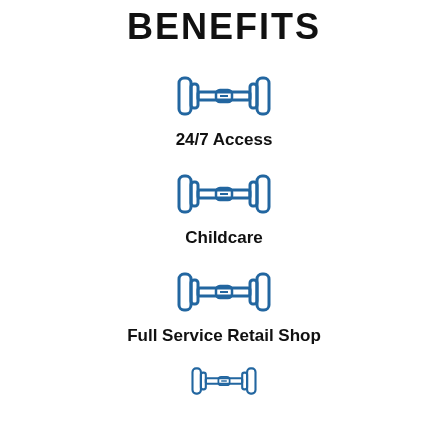BENEFITS
[Figure (illustration): Blue dumbbell icon]
24/7 Access
[Figure (illustration): Blue dumbbell icon]
Childcare
[Figure (illustration): Blue dumbbell icon]
Full Service Retail Shop
[Figure (illustration): Blue dumbbell icon (partial, bottom of page)]